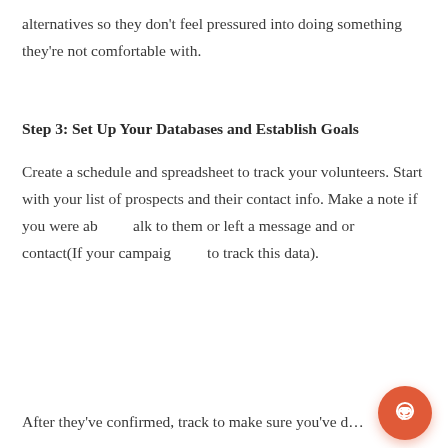alternatives so they don't feel pressured into doing something they're not comfortable with.
Step 3: Set Up Your Databases and Establish Goals
Create a schedule and spreadsheet to track your volunteers. Start with your list of prospects and their contact info. Make a note if you were able to talk to them or left a message and or email to follow up with that contact(If your campaign has a large volume of volunteers to track this data).
[Figure (screenshot): Chat popup widget with a dark circular icon showing speech/sound waves and text: 'Need help? Want to book a call with SpeakEasy? I'm happy to help.' with an X close button.]
After they've confirmed, track to make sure you've d…